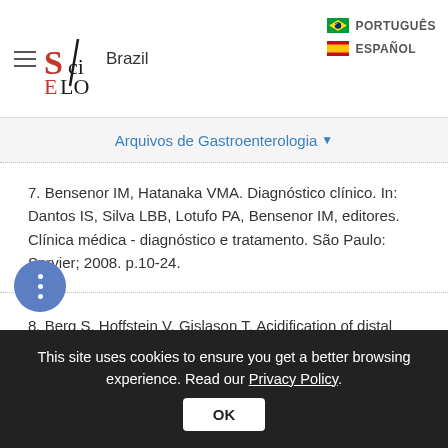SciELO Brazil | PORTUGUÊS | ESPAÑOL
Arquivos de Gastroenterologia
7. Bensenor IM, Hatanaka VMA. Diagnóstico clínico. In: Dantos IS, Silva LBB, Lotufo PA, Bensenor IM, editores. Clínica médica - diagnóstico e tratamento. São Paulo: Sarvier; 2008. p.10-24.
8. Berg S, Hoffstein V, Gislason T. Acidification of distal esophagus and sleep-related breathing disturbances. Chest. 2004;125:2101-6.
This site uses cookies to ensure you get a better browsing experience. Read our Privacy Policy.